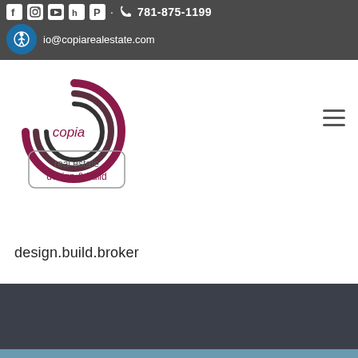781-875-1199 | info@copiarealestate.com
[Figure (logo): Copia Real Estate Design & Build logo with circular swirl mark and tagline badge]
design.build.broker
[Figure (photo): Dark blue/navy background image with partial blue sky at bottom, appears to be a building or property photo]